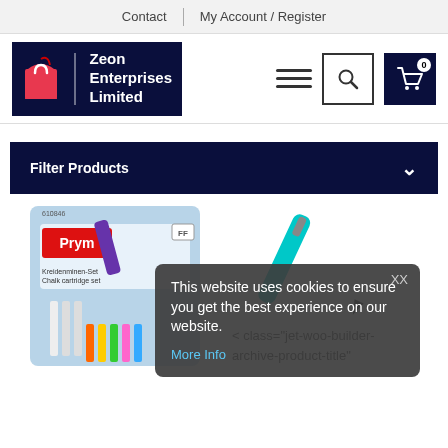Contact | My Account / Register
[Figure (logo): Zeon Enterprises Limited logo with red shopping bag icon on dark navy background]
[Figure (infographic): Hamburger menu icon, search button with magnifying glass, cart button with badge showing 0]
Filter Products
[Figure (photo): Prym chalk cartridge set product with pencils in packaging, product number 610846]
[Figure (photo): Teal mechanical pencil or similar writing tool, partially visible]
This website uses cookies to ensure you get the best experience on our website.
More Info
< class="jet-woo-builder-archive-product-title"